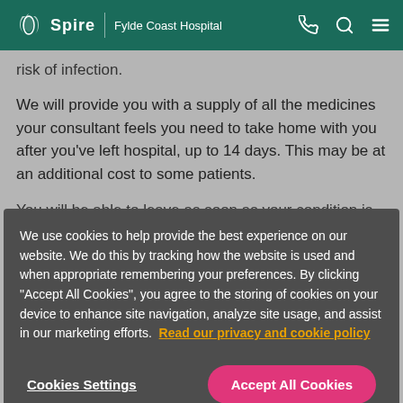Spire | Fylde Coast Hospital
risk of infection.
We will provide you with a supply of all the medicines your consultant feels you need to take home with you after you've left hospital, up to 14 days. This may be at an additional cost to some patients.
You will be able to leave as soon as your condition is stable
We use cookies to help provide the best experience on our website. We do this by tracking how the website is used and when appropriate remembering your preferences. By clicking "Accept All Cookies", you agree to the storing of cookies on your device to enhance site navigation, analyze site usage, and assist in our marketing efforts. Read our privacy and cookie policy
Cookies Settings
Accept All Cookies